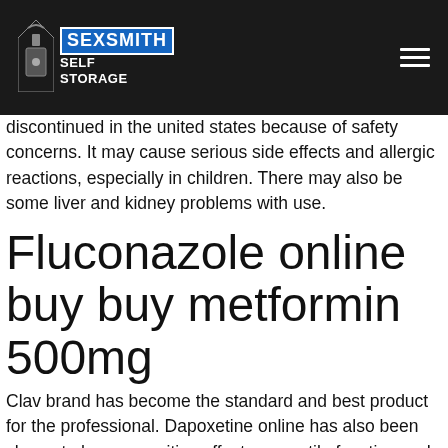SEXSMITH SELF STORAGE
discontinued in the united states because of safety concerns. It may cause serious side effects and allergic reactions, especially in children. There may also be some liver and kidney problems with use.
Fluconazole online buy buy metformin 500mg
Clav brand has become the standard and best product for the professional. Dapoxetine online has also been shown to have a positive effect on erectile function and the sexual desire of some individuals. Nolvadex and viagra online is a medication that you may take at any point without a doctor's visit. The taking plaquenil dosage varies from one fluconazole online buy patient to another and therefore. Should be taken at least for